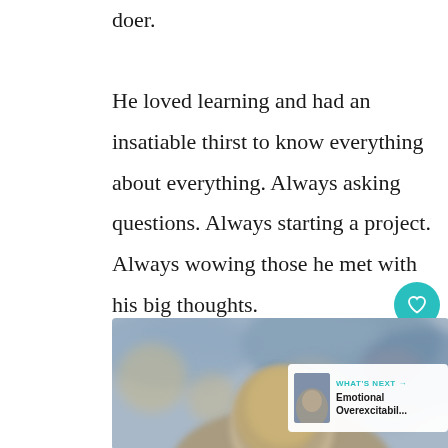doer.

He loved learning and had an insatiable thirst to know everything about everything. Always asking questions. Always starting a project. Always wowing those he met with his big thoughts.

And then school — and the talks — started.
[Figure (photo): Blurred photo of the back of a person's head, with a blurred crowd or audience in the background. Muted blue and grey tones.]